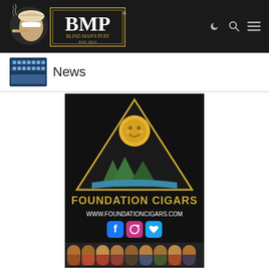[Figure (logo): BMP Blind Man's Puff logo on dark header bar with navigation icons (moon, search, menu)]
[Figure (photo): Small thumbnail of cigar boxes next to 'News' label]
News
[Figure (logo): Foundation Cigars promotional banner with triangle logo containing sun and mountains, text 'FOUNDATION CIGARS', 'WWW.FOUNDATIONCIGARS.COM', social media icons (Facebook, Instagram, Twitter), and row of cigars at bottom]